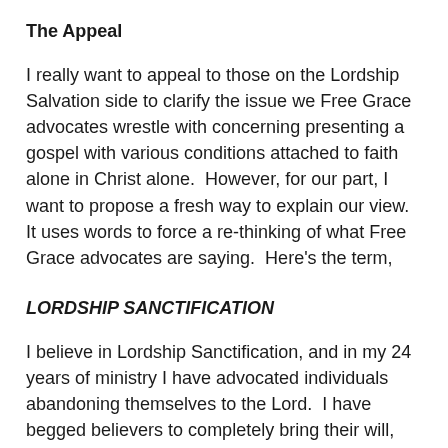The Appeal
I really want to appeal to those on the Lordship Salvation side to clarify the issue we Free Grace advocates wrestle with concerning presenting a gospel with various conditions attached to faith alone in Christ alone.  However, for our part, I want to propose a fresh way to explain our view.  It uses words to force a re-thinking of what Free Grace advocates are saying.  Here's the term,
LORDSHIP SANCTIFICATION
I believe in Lordship Sanctification, and in my 24 years of ministry I have advocated individuals abandoning themselves to the Lord.  I have begged believers to completely bring their will, desires, and possessions under Jesus Christ, the Son of God, as the Lord of their lives.  I personally and deeply believe Lordship is crucial for the one who has faith in Christ.  In no sense would I ever be against Christ as Lord.  However, I do